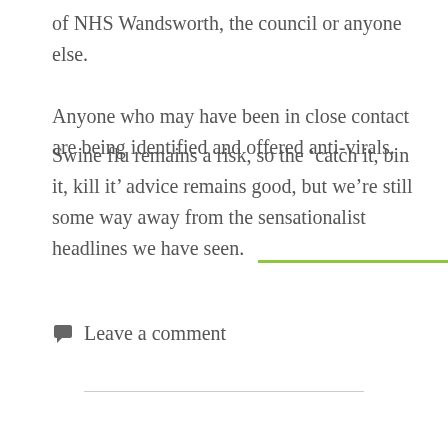of NHS Wandsworth, the council or anyone else. Anyone who may have been in close contact are being identified and offered anti-virals.
Swine flu remains a risk, so the ‘catch it, bin it, kill it’ advice remains good, but we’re still some way away from the sensationalist headlines we have seen.
Leave a comment